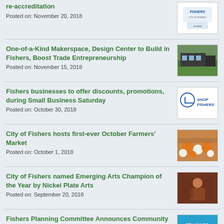re-accreditation
Posted on: November 20, 2018
One-of-a-Kind Makerspace, Design Center to Build in Fishers, Boost Trade Entrepreneurship
Posted on: November 15, 2018
Fishers businesses to offer discounts, promotions, during Small Business Saturday
Posted on: October 30, 2018
City of Fishers hosts first-ever October Farmers' Market
Posted on: October 1, 2018
City of Fishers named Emerging Arts Champion of the Year by Nickel Plate Arts
Posted on: September 20, 2018
Fishers Planning Committee Announces Community Effort to Solicit Ideas for New Kind…